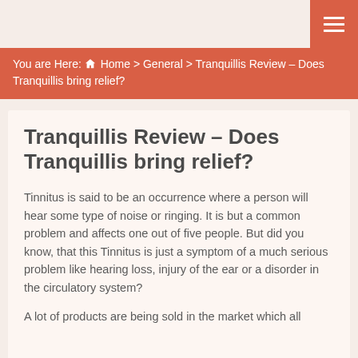≡
You are Here: 🏠 Home > General > Tranquillis Review – Does Tranquillis bring relief?
Tranquillis Review – Does Tranquillis bring relief?
Tinnitus is said to be an occurrence where a person will hear some type of noise or ringing. It is but a common problem and affects one out of five people. But did you know, that this Tinnitus is just a symptom of a much serious problem like hearing loss, injury of the ear or a disorder in the circulatory system?
A lot of products are being sold in the market which all